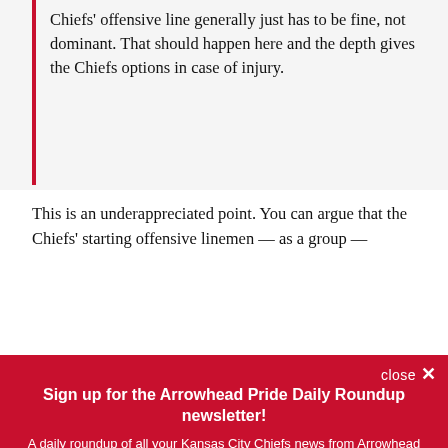Chiefs' offensive line generally just has to be fine, not dominant. That should happen here and the depth gives the Chiefs options in case of injury.
This is an underappreciated point. You can argue that the Chiefs' starting offensive linemen — as a group —
close ✕
Sign up for the Arrowhead Pride Daily Roundup newsletter!
A daily roundup of all your Kansas City Chiefs news from Arrowhead Pride
Email (required)
SUBSCRIBE
By submitting your email, you agree to our Terms and Privacy Notice. You can opt out at any time. This site is protected by reCAPTCHA and the Google Privacy Policy and Terms of Service apply.